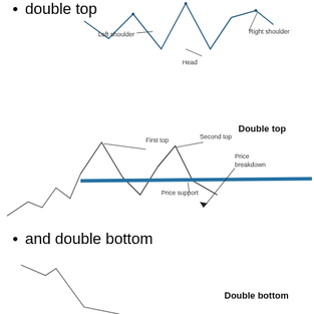[Figure (illustration): Head and shoulders chart pattern showing left shoulder, head, and right shoulder with annotations]
double top
[Figure (illustration): Double top chart pattern showing first top, second top, price support line, price breakdown arrow, and 'Double top' label]
and double bottom
[Figure (illustration): Double bottom chart pattern (partially visible) with 'Double bottom' label]